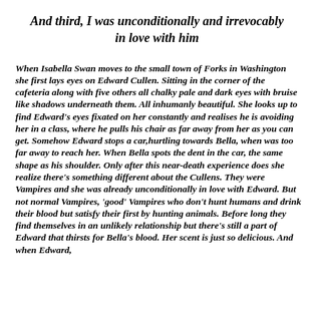And third, I was unconditionally and irrevocably in love with him
When Isabella Swan moves to the small town of Forks in Washington she first lays eyes on Edward Cullen. Sitting in the corner of the cafeteria along with five others all chalky pale and dark eyes with bruise like shadows underneath them. All inhumanly beautiful. She looks up to find Edward's eyes fixated on her constantly and realises he is avoiding her in a class, where he pulls his chair as far away from her as you can get. Somehow Edward stops a car,hurtling towards Bella, when was too far away to reach her. When Bella spots the dent in the car, the same shape as his shoulder. Only after this near-death experience does she realize there's something different about the Cullens. They were Vampires and she was already unconditionally in love with Edward. But not normal Vampires, 'good' Vampires who don't hunt humans and drink their blood but satisfy their first by hunting animals. Before long they find themselves in an unlikely relationship but there's still a part of Edward that thirsts for Bella's blood. Her scent is just so delicious. And when Edward,